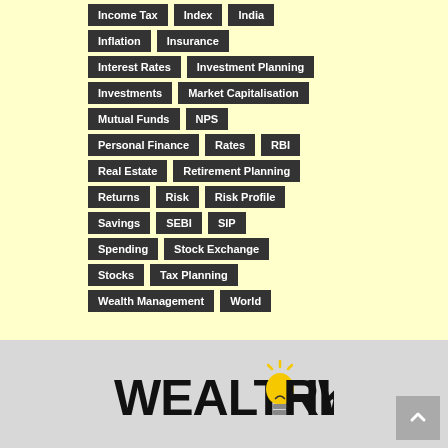Income Tax
Index
India
Inflation
Insurance
Interest Rates
Investment Planning
Investments
Market Capitalisation
Mutual Funds
NPS
Personal Finance
Rates
RBI
Real Estate
Retirement Planning
Returns
Risk
Risk Profile
Savings
SEBI
SIP
Spending
Stock Exchange
Stocks
Tax Planning
Wealth Management
World
[Figure (logo): WealthWorkz logo with lightbulb replacing the letter O, in bold black text on grey background]